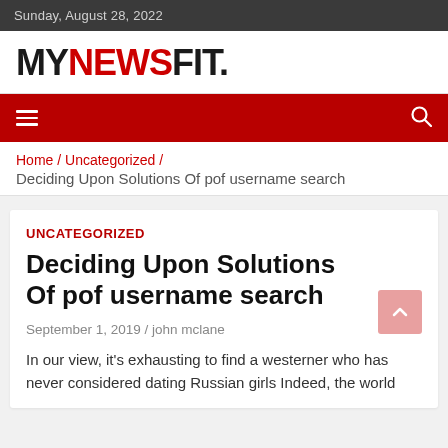Sunday, August 28, 2022
MYNEWSFIT.
Home / Uncategorized / Deciding Upon Solutions Of pof username search
UNCATEGORIZED
Deciding Upon Solutions Of pof username search
September 1, 2019 / john mclane
In our view, it's exhausting to find a westerner who has never considered dating Russian girls Indeed, the world